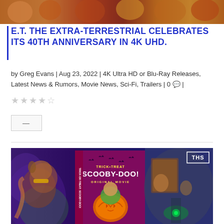[Figure (photo): Top banner image showing movie/entertainment content with warm orange and red tones]
E.T. THE EXTRA-TERRESTRIAL CELEBRATES ITS 40TH ANNIVERSARY IN 4K UHD.
by Greg Evans | Aug 23, 2022 | 4K Ultra HD or Blu-Ray Releases, Latest News & Rumors, Movie News, Sci-Fi, Trailers | 0 💬 |
★★★★☆
—
[Figure (photo): Trick or Treat Scooby-Doo! Original Movie DVD/Blu-ray cover art with THS logo watermark, showing Scooby-Doo in Halloween pumpkin costume on a colorful animated background]